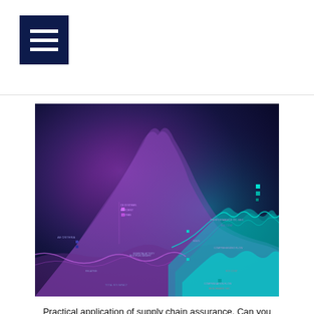[Figure (illustration): Abstract 3D data visualization with purple and teal/cyan wave-like surfaces on a dark navy/purple background, representing complex data streams or supply chain analytics. Small text labels and data points are scattered throughout the image.]
Practical application of supply chain assurance. Can you